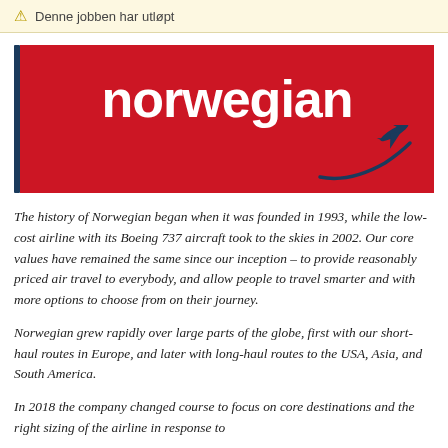Denne jobben har utløpt
[Figure (logo): Norwegian Air logo: white bold text 'norwegian' on red background with dark blue airplane swoosh graphic in bottom right]
The history of Norwegian began when it was founded in 1993, while the low-cost airline with its Boeing 737 aircraft took to the skies in 2002. Our core values have remained the same since our inception – to provide reasonably priced air travel to everybody, and allow people to travel smarter and with more options to choose from on their journey.
Norwegian grew rapidly over large parts of the globe, first with our short-haul routes in Europe, and later with long-haul routes to the USA, Asia, and South America.
In 2018 the company changed course to focus on core destinations and the right sizing of the airline in response to